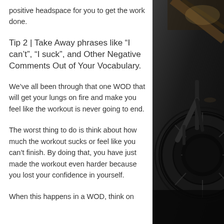positive headspace for you to get the work done.
Tip 2 | Take Away phrases like “I can’t”, “I suck”, and Other Negative Comments Out of Your Vocabulary.
We’ve all been through that one WOD that will get your lungs on fire and make you feel like the workout is never going to end.
The worst thing to do is think about how much the workout sucks or feel like you can’t finish. By doing that, you have just made the workout even harder because you lost your confidence in yourself.
When this happens in a WOD, think on
[Figure (photo): Dark gym interior with exercise bike/air bike equipment visible, moody lighting with wooden beams in background]